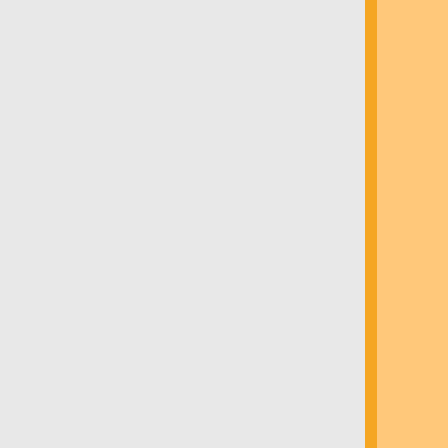[Figure (screenshot): Source code diff view showing C code with three columns: grey background on left, orange highlight in middle strip, and partially visible code on the right showing if statements with Pike_fatal calls, new_node assignments, add_ref calls, PMOD_EXPORT declaration, and ifdef/if blocks.]